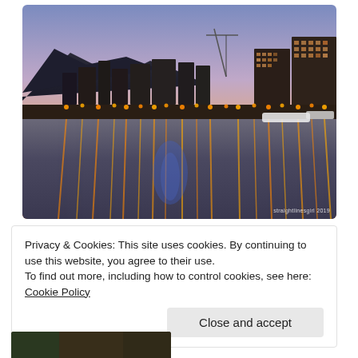[Figure (photo): Hobart waterfront at dusk/night showing city skyline, cranes, lit buildings, marina with boats, and water reflections of orange, yellow and blue city lights under a purple-pink twilight sky. Watermark: straightlinesgirl 2019]
Privacy & Cookies: This site uses cookies. By continuing to use this website, you agree to their use.
To find out more, including how to control cookies, see here: Cookie Policy
[Figure (photo): Bottom partial image showing outdoor scene at dusk]